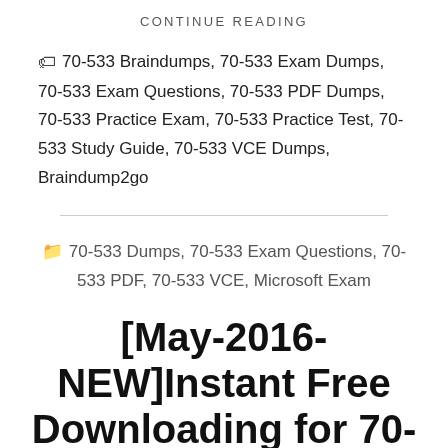CONTINUE READING
70-533 Braindumps, 70-533 Exam Dumps, 70-533 Exam Questions, 70-533 PDF Dumps, 70-533 Practice Exam, 70-533 Practice Test, 70-533 Study Guide, 70-533 VCE Dumps, Braindump2go
70-533 Dumps, 70-533 Exam Questions, 70-533 PDF, 70-533 VCE, Microsoft Exam
[May-2016-NEW]Instant Free Downloading for 70-533 Practice Test Offered by...